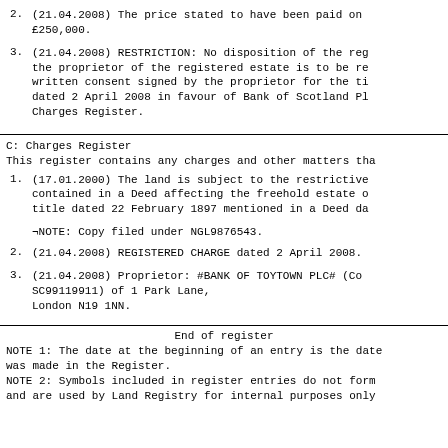2. (21.04.2008) The price stated to have been paid on £250,000.
3. (21.04.2008) RESTRICTION: No disposition of the registered estate is to be registered without a written consent signed by the proprietor for the time being of the Charge dated 2 April 2008 in favour of Bank of Scotland PLC referred to in the Charges Register.
C: Charges Register
This register contains any charges and other matters that
1. (17.01.2000) The land is subject to the restrictive covenants contained in a Deed affecting the freehold estate dated and made under title dated 22 February 1897 mentioned in a Deed da
¬NOTE: Copy filed under NGL9876543.
2. (21.04.2008) REGISTERED CHARGE dated 2 April 2008.
3. (21.04.2008) Proprietor: #BANK OF TOYTOWN PLC# (Co SC99119911) of 1 Park Lane, London N19 1NN.
End of register
NOTE 1: The date at the beginning of an entry is the date was made in the Register.
NOTE 2: Symbols included in register entries do not form and are used by Land Registry for internal purposes only